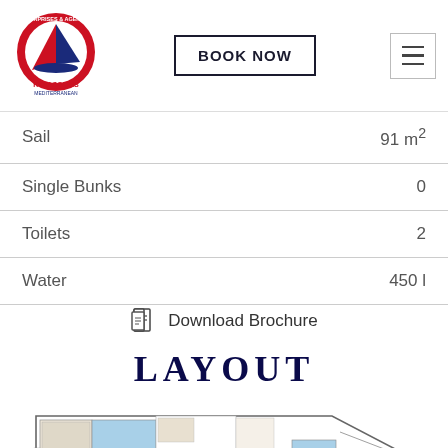BOOK NOW | Kiriacoulis Mediterranean Logo | Hamburger menu
| Specification | Value |
| --- | --- |
| Sail | 91 m² |
| Single Bunks | 0 |
| Toilets | 2 |
| Water | 450 l |
Download Brochure
LAYOUT
[Figure (engineering-diagram): Boat interior floor plan/layout diagram showing cabins with blue berths, central saloon area, nav station, galley, and forward cabin in a sailboat hull shape.]